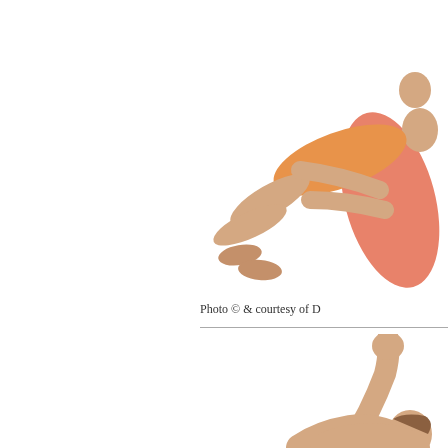[Figure (photo): Dance performance photo showing a male dancer carrying a female dancer in an orange/salmon costume, white background. The female dancer is lifted horizontally with legs extended. Visible in upper right portion of page.]
Photo © & courtesy of D
[Figure (photo): Dance performance photo showing a female dancer with arm raised upward, visible from approximately waist up, white background. Bottom portion of page.]